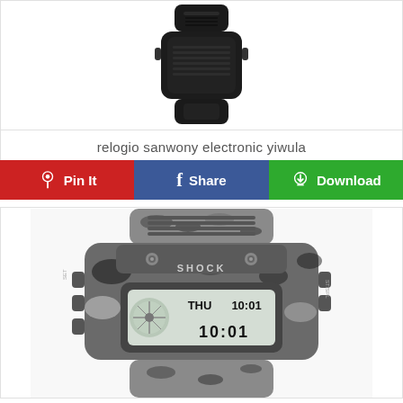[Figure (photo): Black digital sport watch viewed from the top/band side, showing black rubber strap and back casing]
relogio sanwony electronic yiwula
[Figure (other): Three action buttons: Pin It (red/Pinterest), Share (blue/Facebook), Download (green with download icon)]
[Figure (photo): Camouflage digital sport watch (Shock brand) showing front face with LCD display reading THU 10:01, grey/black/white camo pattern strap, grey top housing with ridges]